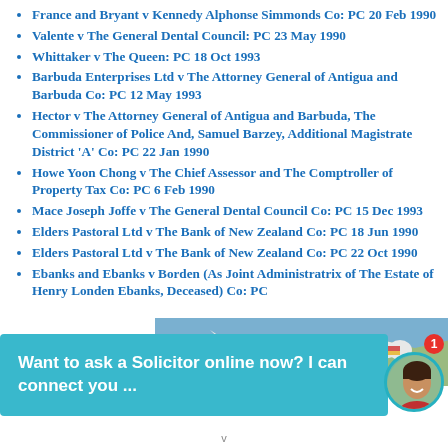France and Bryant v Kennedy Alphonse Simmonds Co: PC 20 Feb 1990
Valente v The General Dental Council: PC 23 May 1990
Whittaker v The Queen: PC 18 Oct 1993
Barbuda Enterprises Ltd v The Attorney General of Antigua and Barbuda Co: PC 12 May 1993
Hector v The Attorney General of Antigua and Barbuda, The Commissioner of Police And, Samuel Barzey, Additional Magistrate District 'A' Co: PC 22 Jan 1990
Howe Yoon Chong v The Chief Assessor and The Comptroller of Property Tax Co: PC 6 Feb 1990
Mace Joseph Joffe v The General Dental Council Co: PC 15 Dec 1993
Elders Pastoral Ltd v The Bank of New Zealand Co: PC 18 Jun 1990
Elders Pastoral Ltd v The Bank of New Zealand Co: PC 22 Oct 1990
Ebanks and Ebanks v Borden (As Joint Administratrix of The Estate of Henry Londen Ebanks, Deceased) Co: PC
[Figure (photo): Partial photo of an airplane with colorful livery, partially obscured by overlay]
Want to ask a Solicitor online now? I can connect you ...